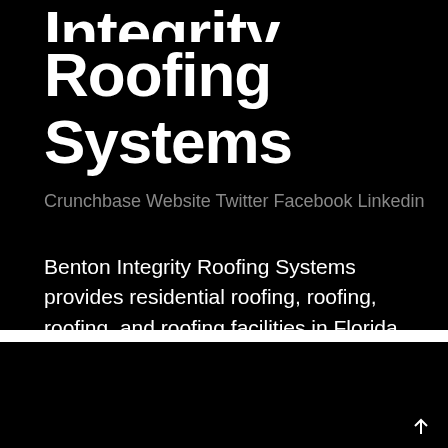Integrity Roofing Systems
Crunchbase Website Twitter Facebook Linkedin
Benton Integrity Roofing Systems provides residential roofing, roofing, roofing, and roofing facilities in Florida and Georgia.